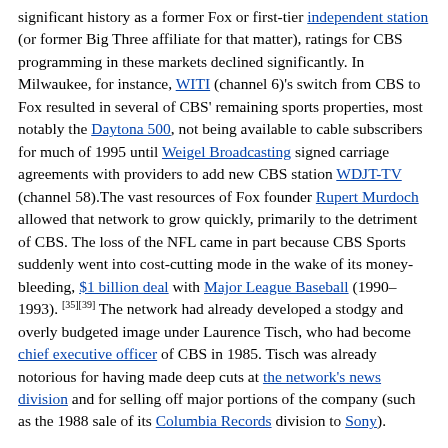significant history as a former Fox or first-tier independent station (or former Big Three affiliate for that matter), ratings for CBS programming in these markets declined significantly. In Milwaukee, for instance, WITI (channel 6)'s switch from CBS to Fox resulted in several of CBS' remaining sports properties, most notably the Daytona 500, not being available to cable subscribers for much of 1995 until Weigel Broadcasting signed carriage agreements with providers to add new CBS station WDJT-TV (channel 58).The vast resources of Fox founder Rupert Murdoch allowed that network to grow quickly, primarily to the detriment of CBS. The loss of the NFL came in part because CBS Sports suddenly went into cost-cutting mode in the wake of its money-bleeding, $1 billion deal with Major League Baseball (1990–1993). [35][39] The network had already developed a stodgy and overly budgeted image under Laurence Tisch, who had become chief executive officer of CBS in 1985. Tisch was already notorious for having made deep cuts at the network's news division and for selling off major portions of the company (such as the 1988 sale of its Columbia Records division to Sony).
When CBS lost the NFL to Fox, the "Tiffany Network" struggled to compete in the ratings with a slate of programming whose audiences skewed older than programs broadcast by the other networks, even though the network still finished ahead of Fox, whose programming at the time of the NFL deal was almost